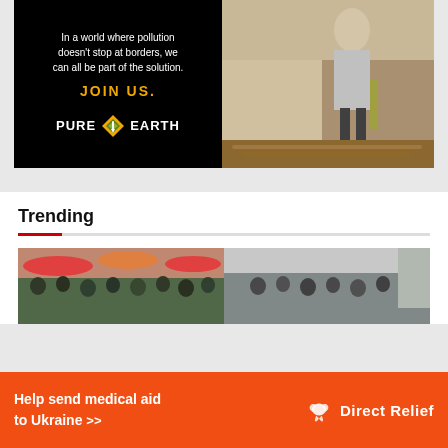[Figure (illustration): Pure Earth advertisement banner with black left panel showing text 'In a world where pollution doesn't stop at borders, we can all be part of the solution. JOIN US. PURE EARTH' and right panel showing a person planting/gardening]
Trending
[Figure (photo): Wide crowd scene photo showing many people on a street or market, split into two sections]
[Figure (illustration): Orange Direct Relief advertisement banner: 'Help send medical aid to Ukraine >>' with Direct Relief logo on the right]